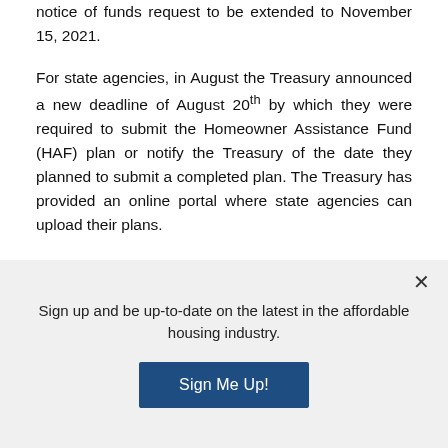notice of funds request to be extended to November 15, 2021.
For state agencies, in August the Treasury announced a new deadline of August 20th by which they were required to submit the Homeowner Assistance Fund (HAF) plan or notify the Treasury of the date they planned to submit a completed plan. The Treasury has provided an online portal where state agencies can upload their plans.
This notice is the latest of the series of HAF Plan submission deadline extensions the Treasury has
Sign up and be up-to-date on the latest in the affordable housing industry.